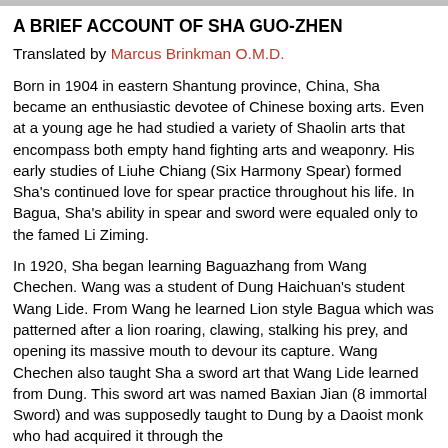A BRIEF ACCOUNT OF SHA GUO-ZHEN
Translated by Marcus Brinkman O.M.D.
Born in 1904 in eastern Shantung province, China, Sha became an enthusiastic devotee of Chinese boxing arts. Even at a young age he had studied a variety of Shaolin arts that encompass both empty hand fighting arts and weaponry. His early studies of Liuhe Chiang (Six Harmony Spear) formed Sha's continued love for spear practice throughout his life. In Bagua, Sha's ability in spear and sword were equaled only to the famed Li Ziming.
In 1920, Sha began learning Baguazhang from Wang Chechen. Wang was a student of Dung Haichuan's student Wang Lide. From Wang he learned Lion style Bagua which was patterned after a lion roaring, clawing, stalking his prey, and opening its massive mouth to devour its capture. Wang Chechen also taught Sha a sword art that Wang Lide learned from Dung. This sword art was named Baxian Jian (8 immortal Sword) and was supposedly taught to Dung by a Daoist monk who had acquired it through the...